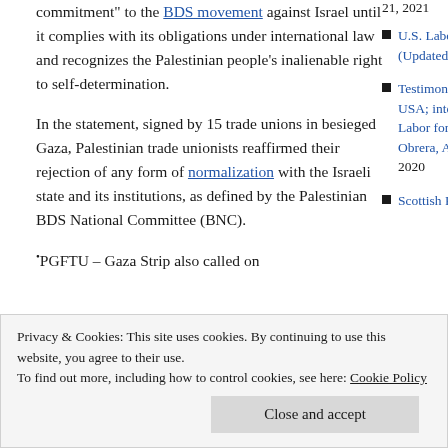commitment to the BDS movement against Israel until it complies with its obligations under international law and recognizes the Palestinian people's inalienable right to self-determination.
In the statement, signed by 15 trade unions in besieged Gaza, Palestinian trade unionists reaffirmed their rejection of any form of normalization with the Israeli state and its institutions, as defined by the Palestinian BDS National Committee (BNC).
PGFTU – Gaza Strip also called on
U.S. Labor Must Stand With Palestine! (Updated Endorsers) May 15, 2021
Testimonies of the popular rebellion in USA; interview with Michael Letwin, Labor for Palestine New York (La Prensa Obrera, Argentina, June 7, 2020) June 11, 2020
Scottish Palestine Solidarity Campaign
Privacy & Cookies: This site uses cookies. By continuing to use this website, you agree to their use. To find out more, including how to control cookies, see here: Cookie Policy
Close and accept